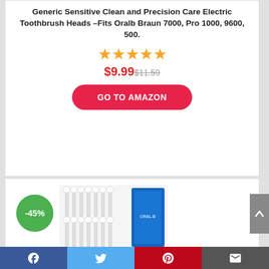Generic Sensitive Clean and Precision Care Electric Toothbrush Heads –Fits Oralb Braun 7000, Pro 1000, 9600, 500.
[Figure (other): Five orange star rating icons]
$9.99 $11.59
GO TO AMAZON
[Figure (other): -45% green discount badge circle]
[Figure (photo): Product photo of electric toothbrush replacement heads pack]
Facebook | Twitter | Pinterest | Email social sharing bar